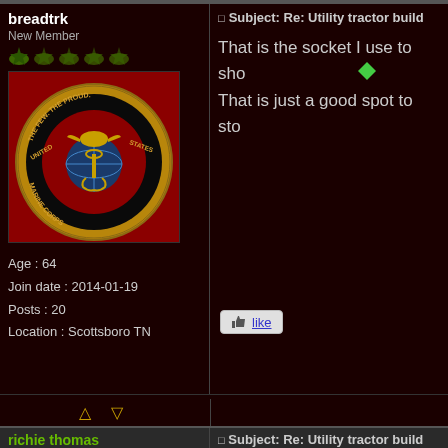breadtrk
New Member
[Figure (photo): United States Marine Corps emblem on red background - circular badge with eagle, globe and anchor, text 'The Few. The Proud.' and 'United States Marine Corps']
Age : 64
Join date : 2014-01-19
Posts : 20
Location : Scottsboro TN
Subject: Re: Utility tractor build
That is the socket I use to sho
That is just a good spot to sto
[Figure (illustration): Like button with thumbs up icon]
richie thomas
Veteran Member
Subject: Re: Utility tractor build
breadtrk wrote: